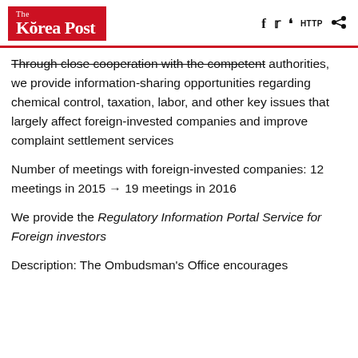The Korea Post [social icons: f, twitter, quote, HTTP, share]
through close cooperation with the competent authorities, we provide information-sharing opportunities regarding chemical control, taxation, labor, and other key issues that largely affect foreign-invested companies and improve complaint settlement services
Number of meetings with foreign-invested companies: 12 meetings in 2015 → 19 meetings in 2016
We provide the Regulatory Information Portal Service for Foreign investors
Description: The Ombudsman's Office encourages